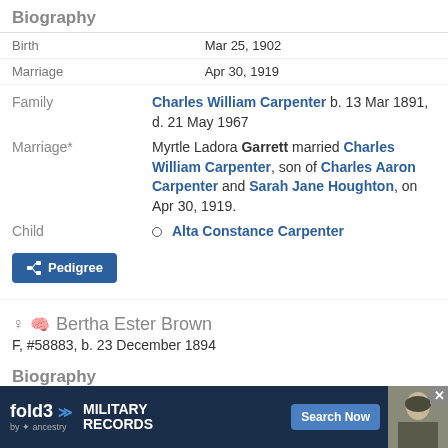Biography
|  |  |
| --- | --- |
| Birth | Mar 25, 1902 |
| Marriage | Apr 30, 1919 |
Family: Charles William Carpenter b. 13 Mar 1891, d. 21 May 1967
Marriage*: Myrtle Ladora Garrett married Charles William Carpenter, son of Charles Aaron Carpenter and Sarah Jane Houghton, on Apr 30, 1919.
Child: Alta Constance Carpenter
Pedigree (button)
♀ 🧠 Bertha Ester Brown
F, #58883, b. 23 December 1894
Biography
|  |  |
| --- | --- |
| Birth |  |
| Marriage |  |
[Figure (infographic): fold3 by Ancestry advertisement for Military Records with Search Now button and a soldier photo]